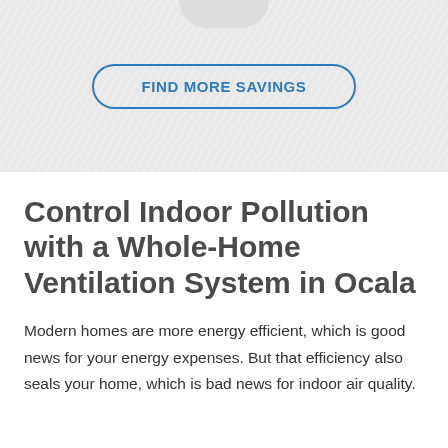[Figure (other): Textured light grey background section with diagonal line pattern and a partial circular shape at the top]
FIND MORE SAVINGS
Control Indoor Pollution with a Whole-Home Ventilation System in Ocala
Modern homes are more energy efficient, which is good news for your energy expenses. But that efficiency also seals your home, which is bad news for indoor air quality.